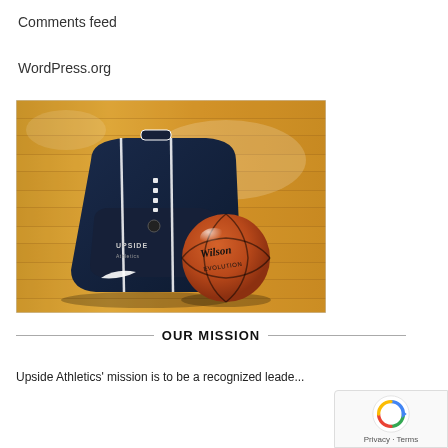Comments feed
WordPress.org
[Figure (photo): A navy Nike backpack with white stripes and a Wilson Evolution basketball sitting on a wooden basketball court floor.]
OUR MISSION
Upside Athletics' mission is to be a recognized leade...